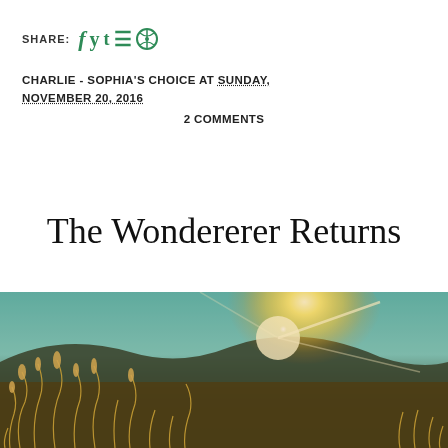SHARE: f y t ®
CHARLIE - SOPHIA'S CHOICE AT SUNDAY, NOVEMBER 20, 2016
2 COMMENTS
The Wondererer Returns
[Figure (photo): Sunlit field with tall grass and wildflowers in the foreground, bright sun flare in the center-right, teal sky and dark hills in the background. Warm golden tones.]